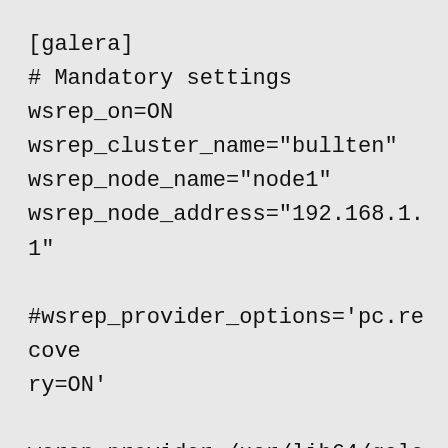[galera]
# Mandatory settings
wsrep_on=ON
wsrep_cluster_name="bullten"
wsrep_node_name="node1"
wsrep_node_address="192.168.1.1"

#wsrep_provider_options='pc.recovery=ON'

wsrep_provider=/usr/lib64/galera/libgalera_smm.so

wsrep_cluster_address=gcomm://192.